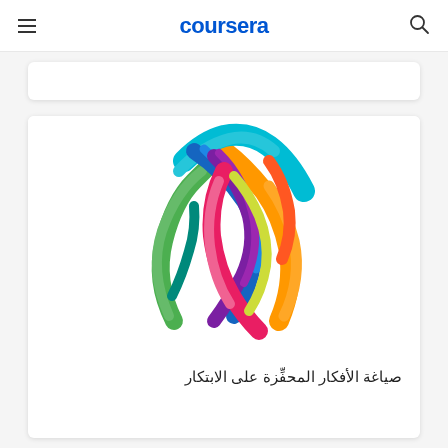coursera
[Figure (illustration): Colorful abstract light bulb illustration made of swirling brush strokes in teal, blue, purple, orange, green, pink, and yellow colors on a white background]
صياغة الأفكار المحفِّزة على الابتكار